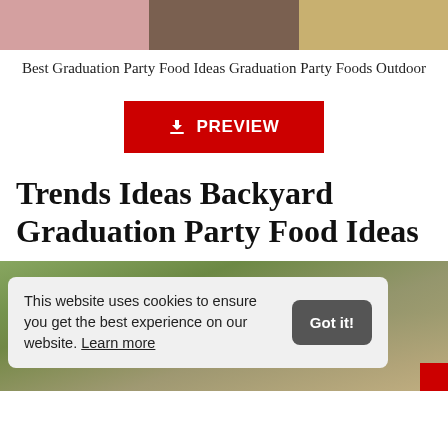[Figure (photo): Three thumbnail images of graduation party food at the top of the page]
Best Graduation Party Food Ideas Graduation Party Foods Outdoor
[Figure (other): Red PREVIEW button with download icon]
Trends Ideas Backyard Graduation Party Food Ideas
[Figure (photo): Outdoor backyard graduation party photo with cookie consent banner overlay]
This website uses cookies to ensure you get the best experience on our website. Learn more